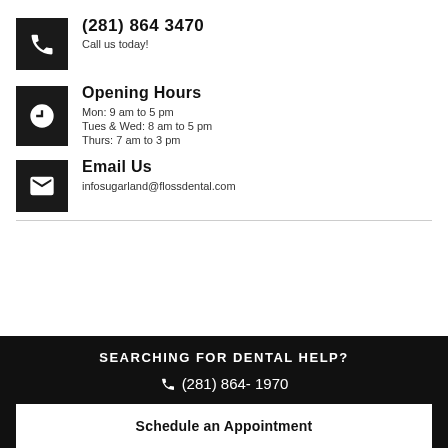(281) 864 3470
Call us today!
Opening Hours
Mon: 9 am to 5 pm
Tues & Wed: 8 am to 5 pm
Thurs: 7 am to 3 pm
Email Us
infosugarland@flossdental.com
SEARCHING FOR DENTAL HELP?
(281) 864- 1970
Schedule an Appointment